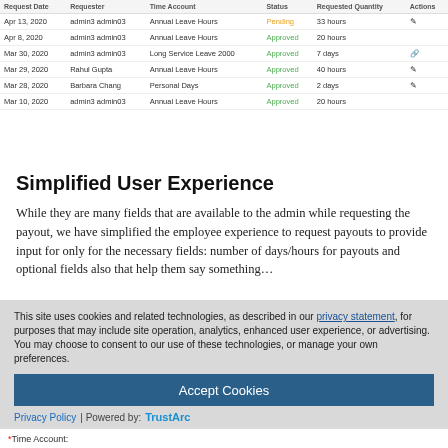| Request Date | Requester | Time Account | Status | Requested Quantity | Actions |
| --- | --- | --- | --- | --- | --- |
| Apr 13, 2020 | admin3 admin03 | Annual Leave Hours | Pending | 33 hours |  |
| Apr 8, 2020 | admin3 admin03 | Annual Leave Hours | Approved | 20 hours |  |
| Mar 30, 2020 | admin3 admin03 | Long Service Leave 2000 | Approved | 7 days |  |
| Mar 29, 2020 | Rahul Gupta | Annual Leave Hours | Approved | 40 hours |  |
| Mar 28, 2020 | Barbara Chang | Personal Days | Approved | 2 days |  |
| Mar 10, 2020 | admin3 admin03 | Annual Leave Hours | Approved | 20 hours |  |
Simplified User Experience
While they are many fields that are available to the admin while requesting the payout, we have simplified the employee experience to request payouts to provide input for only for the necessary fields: number of days/hours for payouts and optional fields…
This site uses cookies and related technologies, as described in our privacy statement, for purposes that may include site operation, analytics, enhanced user experience, or advertising. You may choose to consent to our use of these technologies, or manage your own preferences.
Accept Cookies
More Information
Privacy Policy | Powered by: TrustArc
*Time Account: